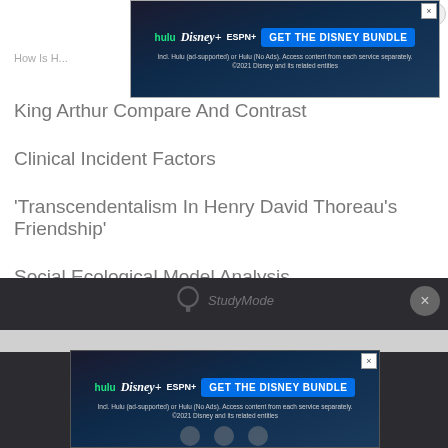[Figure (screenshot): Disney Bundle advertisement banner at top of page showing Hulu, Disney+, ESPN+ logos with 'GET THE DISNEY BUNDLE' call to action button]
How Is H...
King Arthur Compare And Contrast
Clinical Incident Factors
'Transcendentalism In Henry David Thoreau's Friendship'
Social Ecological Model Analysis
[Figure (screenshot): Dark footer section with StudyMode watermark logo and close button]
[Figure (screenshot): Disney Bundle advertisement banner at bottom of page showing Hulu, Disney+, ESPN+ logos with 'GET THE DISNEY BUNDLE' call to action button]